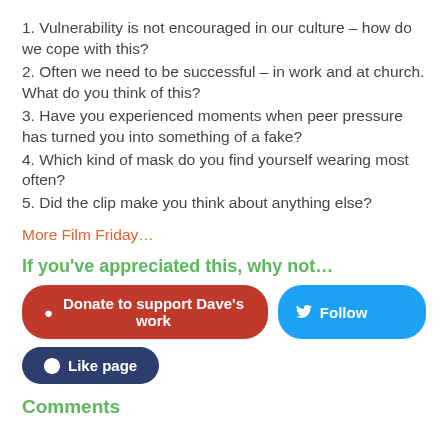1. Vulnerability is not encouraged in our culture – how do we cope with this?
2. Often we need to be successful – in work and at church. What do you think of this?
3. Have you experienced moments when peer pressure has turned you into something of a fake?
4. Which kind of mask do you find yourself wearing most often?
5. Did the clip make you think about anything else?
More Film Friday…
If you've appreciated this, why not…
Donate to support Dave's work  Follow  Like page
Comments